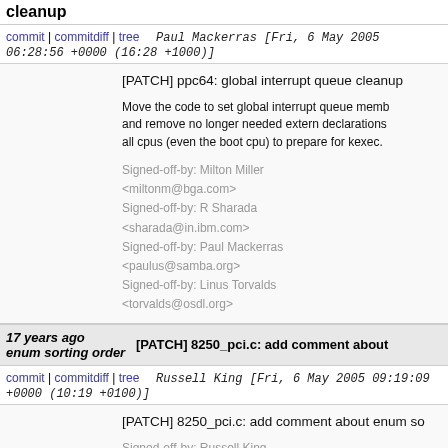cleanup
commit | commitdiff | tree   Paul Mackerras [Fri, 6 May 2005 06:28:56 +0000 (16:28 +1000)]
[PATCH] ppc64: global interrupt queue cleanup

Move the code to set global interrupt queue memb and remove no longer needed extern declarations all cpus (even the boot cpu) to prepare for kexec.

Signed-off-by: Milton Miller <miltonm@bga.com>
Signed-off-by: R Sharada <sharada@in.ibm.com>
Signed-off-by: Paul Mackerras <paulus@samba.org>
Signed-off-by: Linus Torvalds <torvalds@osdl.org>
17 years ago  [PATCH] 8250_pci.c: add comment about enum sorting order
commit | commitdiff | tree   Russell King [Fri, 6 May 2005 09:19:09 +0000 (10:19 +0100)]
[PATCH] 8250_pci.c: add comment about enum so

Signed-off-by: Russell King <rmk@arm.linux.org.uk>